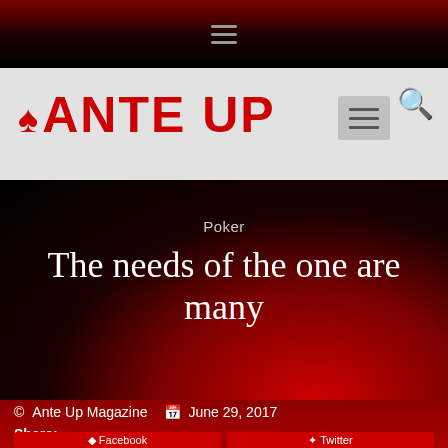[Figure (logo): Ante Up magazine website screenshot showing navigation bar, logo, and article header]
Poker
The needs of the one are many
Ante Up Magazine   June 29, 2017
Share:
Facebook   Twitter